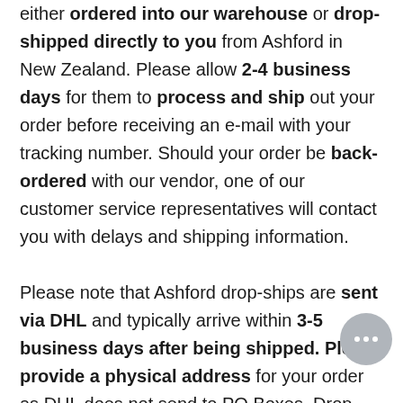either ordered into our warehouse or drop-shipped directly to you from Ashford in New Zealand. Please allow 2-4 business days for them to process and ship out your order before receiving an e-mail with your tracking number. Should your order be back-ordered with our vendor, one of our customer service representatives will contact you with delays and shipping information.

Please note that Ashford drop-ships are sent via DHL and typically arrive within 3-5 business days after being shipped. Please provide a physical address for your order as DHL does not send to PO Boxes. Drop-shipping is not available for international